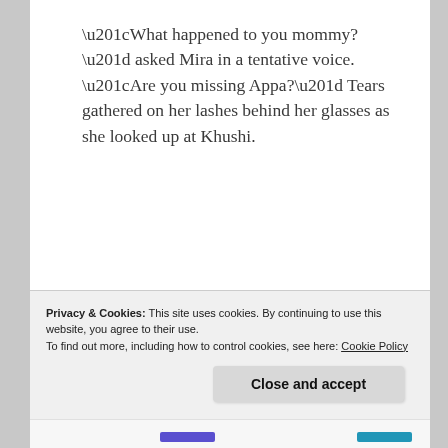“What happened to you mommy?” asked Mira in a tentative voice. “Are you missing Appa?” Tears gathered on her lashes behind her glasses as she looked up at Khushi.
Holding her daughter’s gaze, Khushi nodded her head slowly as unrestrained tears flowed, unwilling to hide her grief from her child.
Privacy & Cookies: This site uses cookies. By continuing to use this website, you agree to their use.
To find out more, including how to control cookies, see here: Cookie Policy